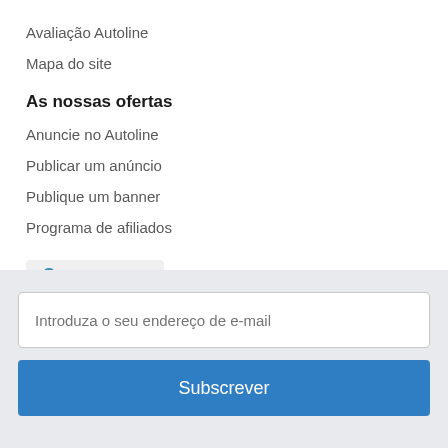Avaliação Autoline
Mapa do site
As nossas ofertas
Anuncie no Autoline
Publicar um anúncio
Publique um banner
Programa de afiliados
Empresas
Introduza o seu endereço de e-mail
Subscrever